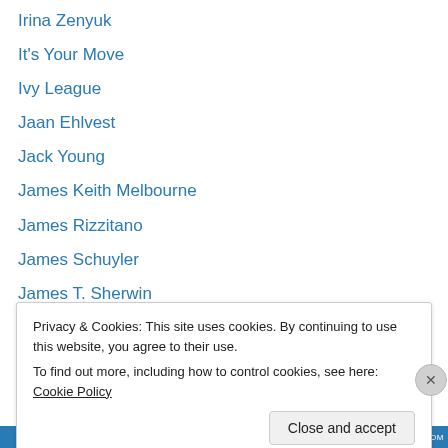Irina Zenyuk
It's Your Move
Ivy League
Jaan Ehlvest
Jack Young
James Keith Melbourne
James Rizzitano
James Schuyler
James T. Sherwin
James Thibault
Jan Adamski
Jay Bonin
Jay Whitehead
Privacy & Cookies: This site uses cookies. By continuing to use this website, you agree to their use. To find out more, including how to control cookies, see here: Cookie Policy
Close and accept